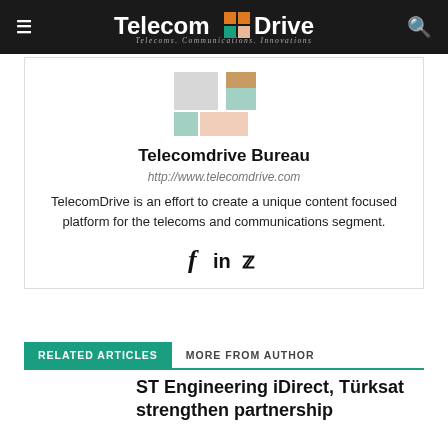TelecomDrive — Telecoms. Communications. Innovations.
[Figure (logo): TelecomDrive logo graphic with orange, teal, and salmon colored square blocks]
Telecomdrive Bureau
http://www.telecomdrive.com
TelecomDrive is an effort to create a unique content focused platform for the telecoms and communications segment.
[Figure (other): Social media icons: Facebook (f), LinkedIn (in), Twitter bird]
RELATED ARTICLES    MORE FROM AUTHOR
ST Engineering iDirect, Türksat strengthen partnership